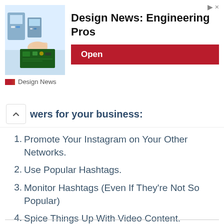[Figure (screenshot): Advertisement banner for Design News: Engineering Pros with a photo of electronics/circuit boards and an Open button]
wers for your business:
1. Promote Your Instagram on Your Other Networks.
2. Use Popular Hashtags.
3. Monitor Hashtags (Even If They're Not So Popular)
4. Spice Things Up With Video Content.
5. Optimize Your Brand Page.
6. Post Consistently and Stick With It.
7. Follow + Like + Comment (FLC)